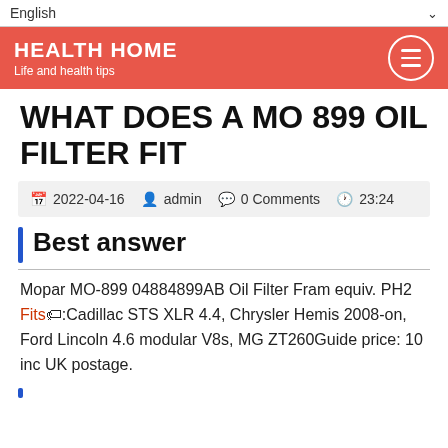English
HEALTH HOME
Life and health tips
WHAT DOES A MO 899 OIL FILTER FIT
2022-04-16   admin   0 Comments   23:24
Best answer
Mopar MO-899 04884899AB Oil Filter Fram equiv. PH2 Fits:Cadillac STS XLR 4.4, Chrysler Hemis 2008-on, Ford Lincoln 4.6 modular V8s, MG ZT260Guide price: 10 inc UK postage.